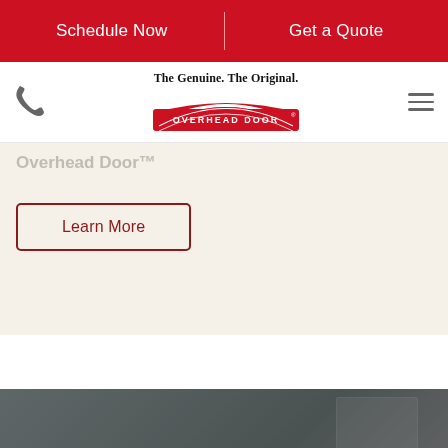Schedule Now | Get a Quote
[Figure (logo): Overhead Door logo with tagline 'The Genuine. The Original.' and red banner logo, phone icon, and hamburger menu icon]
Overhead Door™
Learn More
Find your inspiration